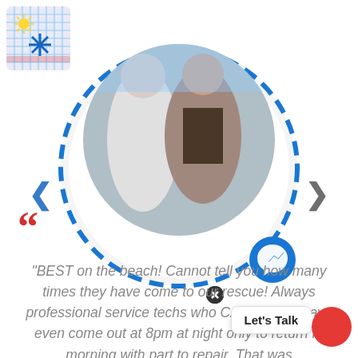[Figure (logo): Small grid/pixel art logo with sun and snowflake icons on a blue/red checkered background]
[Figure (photo): Circular cropped photo of two people in costumes at a beach, with blue decorative dashed ring border, red quotation marks on left, navigation arrows on sides, and Facebook Messenger button on bottom right]
"BEST on the beach! Cannot tell you how many times they have come to our rescue! Always professional service techs who CARE. They have even come out at 8pm at night only to return fo morning with part to repair. That was